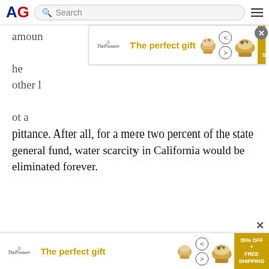AG [logo] | Search | [menu]
[Figure (screenshot): Advertisement banner: 'The perfect gift' with food bowl image and '35% OFF + FREE SHIPPING' gold badge]
amount... he other l... not a pittance. After all, for a mere two percent of the state general fund, water scarcity in California would be eliminated forever.
These numbers were big. And they worked. In July 2021, the state general fund budget was projected at $196 billion for the 2021-22 fiscal year. Two percent of that would be $4 billion per year. And here is where we decided to add some creativity, by providing for half of that $4 billion, or one percent of the general fund, to be used to pay principal and interest on bonds. At four percent interest spread over 30 years, that would unlock $35 billion in
[Figure (screenshot): Advertisement banner at bottom: 'The perfect gift' with food bowl image and '35% OFF + FREE SHIPPING' gold badge]